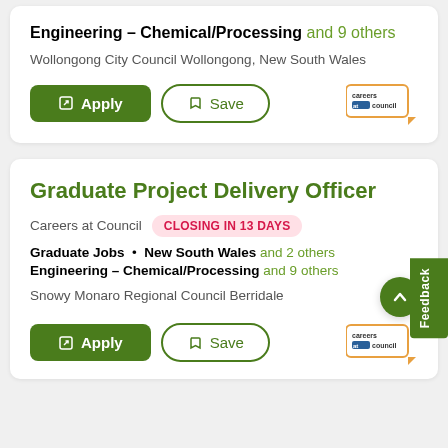Engineering – Chemical/Processing and 9 others
Wollongong City Council Wollongong, New South Wales
Apply
Save
Graduate Project Delivery Officer
Careers at Council   CLOSING IN 13 DAYS
Graduate Jobs • New South Wales and 2 others
Engineering – Chemical/Processing and 9 others
Snowy Monaro Regional Council Berridale
Apply
Save